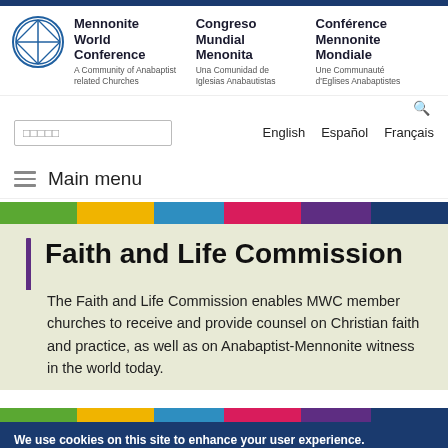Mennonite World Conference | Congreso Mundial Menonita | Conférence Mennonite Mondiale
English  Español  Français
Main menu
Faith and Life Commission
The Faith and Life Commission enables MWC member churches to receive and provide counsel on Christian faith and practice, as well as on Anabaptist-Mennonite witness in the world today.
We use cookies on this site to enhance your user experience. By clicking OK, you agree to us doing so.